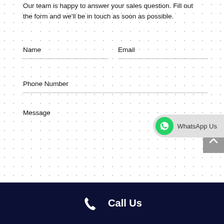Our team is happy to answer your sales question. Fill out the form and we'll be in touch as soon as possible.
Name
Email
Phone Number
Message
[Figure (infographic): WhatsApp Us button with green WhatsApp icon on left and text 'WhatsApp Us' on gray pill-shaped background]
[Figure (infographic): Scroll-to-top button: gray square with white upward chevron arrow]
Call Us